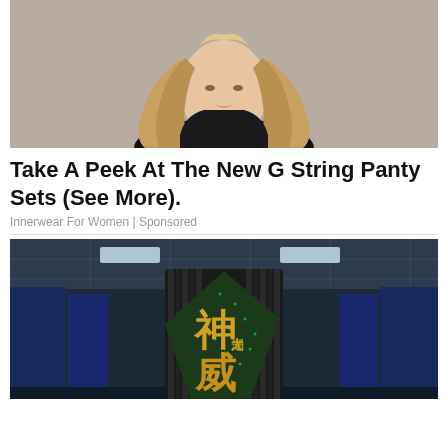[Figure (photo): Woman with long wavy highlighted hair wearing a black top, upper body portrait against grey background]
Take A Peek At The New G String Panty Sets (See More).
Innerwear For Women | Sponsored
[Figure (photo): Sunway TaihuLight supercomputer with Chinese characters 神威·太湖之光 in gold on black chassis, inside a data center with blue server racks]